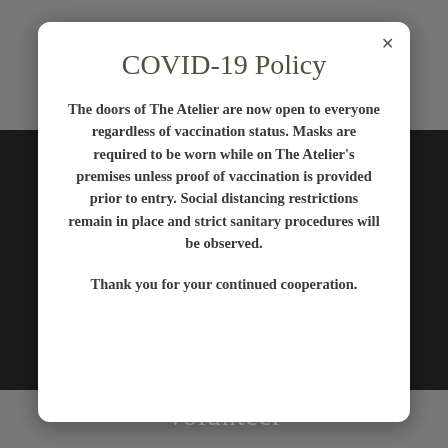COVID-19 Policy
The doors of The Atelier are now open to everyone regardless of vaccination status.  Masks are required to be worn while on The Atelier's premises unless proof of vaccination is provided prior to entry.  Social distancing restrictions remain in place and strict sanitary procedures will be observed.
Thank you for your continued cooperation.